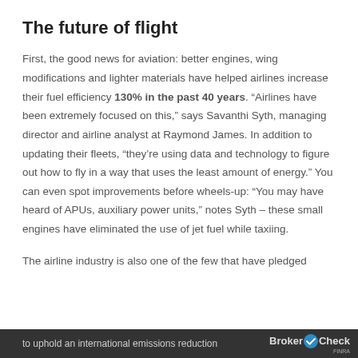The future of flight
First, the good news for aviation: better engines, wing modifications and lighter materials have helped airlines increase their fuel efficiency 130% in the past 40 years. “Airlines have been extremely focused on this,” says Savanthi Syth, managing director and airline analyst at Raymond James. In addition to updating their fleets, “they’re using data and technology to figure out how to fly in a way that uses the least amount of energy.” You can even spot improvements before wheels-up: “You may have heard of APUs, auxiliary power units,” notes Syth – these small engines have eliminated the use of jet fuel while taxiing.
The airline industry is also one of the few that have pledged
to uphold an international emissions reduction   BrokerCheck FINRA